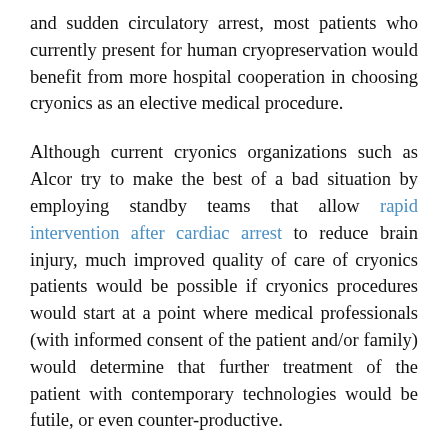and sudden circulatory arrest, most patients who currently present for human cryopreservation would benefit from more hospital cooperation in choosing cryonics as an elective medical procedure.
Although current cryonics organizations such as Alcor try to make the best of a bad situation by employing standby teams that allow rapid intervention after cardiac arrest to reduce brain injury, much improved quality of care of cryonics patients would be possible if cryonics procedures would start at a point where medical professionals (with informed consent of the patient and/or family) would determine that further treatment of the patient with contemporary technologies would be futile, or even counter-productive.
When this determination is made, conventional life support for the patient would be terminated and deep hypothermia would be induced using cardiopulmonary